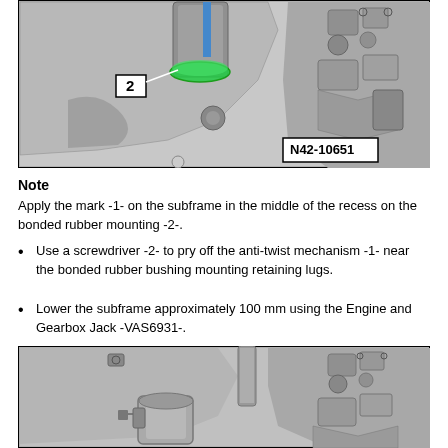[Figure (engineering-diagram): Technical illustration showing subframe bonded rubber mounting with label 2 pointing to recess area, green highlighted ring on cylinder component, image reference N42-10651]
Note
Apply the mark -1- on the subframe in the middle of the recess on the bonded rubber mounting -2-.
Use a screwdriver -2- to pry off the anti-twist mechanism -1- near the bonded rubber bushing mounting retaining lugs.
Lower the subframe approximately 100 mm using the Engine and Gearbox Jack -VAS6931-.
[Figure (engineering-diagram): Technical illustration showing lowered subframe assembly with engine and gearbox jack components visible]